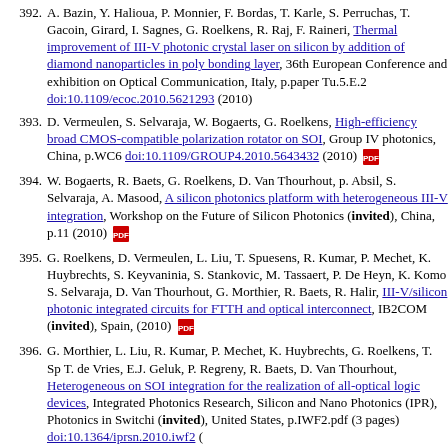392. A. Bazin, Y. Halioua, P. Monnier, F. Bordas, T. Karle, S. Perruchas, T. Gacoin, Girard, I. Sagnes, G. Roelkens, R. Raj, F. Raineri, Thermal improvement of III-V photonic crystal laser on silicon by addition of diamond nanoparticles in poly bonding layer, 36th European Conference and exhibition on Optical Communication, Italy, p.paper Tu.5.E.2 doi:10.1109/ecoc.2010.5621293 (2010)
393. D. Vermeulen, S. Selvaraja, W. Bogaerts, G. Roelkens, High-efficiency broad CMOS-compatible polarization rotator on SOI, Group IV photonics, China, p.WC6 doi:10.1109/GROUP4.2010.5643432 (2010)
394. W. Bogaerts, R. Baets, G. Roelkens, D. Van Thourhout, p. Absil, S. Selvaraja, A. Masood, A silicon photonics platform with heterogeneous III-V integration, Workshop on the Future of Silicon Photonics (invited), China, p.11 (2010)
395. G. Roelkens, D. Vermeulen, L. Liu, T. Spuesens, R. Kumar, P. Mechet, K. Huybrechts, S. Keyvaninia, S. Stankovic, M. Tassaert, P. De Heyn, K. Komorowska, S. Selvaraja, D. Van Thourhout, G. Morthier, R. Baets, R. Halir, III-V/silicon photonic integrated circuits for FTTH and optical interconnect, IB2COM (invited), Spain, (2010)
396. G. Morthier, L. Liu, R. Kumar, P. Mechet, K. Huybrechts, G. Roelkens, T. Spuesens, T. de Vries, E.J. Geluk, P. Regreny, R. Baets, D. Van Thourhout, Heterogeneous on SOI integration for the realization of all-optical logic devices, Integrated Photonics Research, Silicon and Nano Photonics (IPR), Photonics in Switching (invited), United States, p.IWF2.pdf (3 pages) doi:10.1364/iprsn.2010.iwf2 (
397. Y. Halioua, A. Bazin, T. Karle, P. Monnier, I. Sagnes, G. Roelkens, R. Raj, F. Raineri, Hybrid III-V photonic crystal waveguide laser on silicon wire, Integrated Photonics Research, Silicon and Nano Photonics (IPR), Photonics in Switching (PS), United States, p.IWE3.pdf (3 pages) doi:10.1364/iprsn.2010.iwe3 (2010)